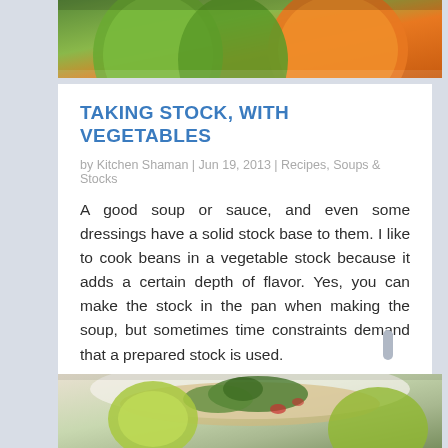[Figure (photo): Top portion of a photo showing green and orange fruits/vegetables with blurred background]
TAKING STOCK, WITH VEGETABLES
by Kitchen Shaman | Jun 19, 2013 | Recipes, Soups & Stocks
A good soup or sauce, and even some dressings have a solid stock base to them. I like to cook beans in a vegetable stock because it adds a certain depth of flavor. Yes, you can make the stock in the pan when making the soup, but sometimes time constraints demand that a prepared stock is used.
READ MORE
[Figure (photo): Bottom portion of a photo showing a bowl with rice, herbs (cilantro/parsley), lime wedges and vegetables]